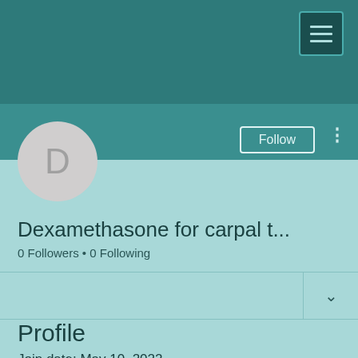[Figure (screenshot): App header with dark teal background and hamburger menu button in top right corner]
[Figure (illustration): Circular avatar with letter D on lighter teal background]
Follow
Dexamethasone for carpal t...
0 Followers • 0 Following
Profile
Join date: May 10, 2022